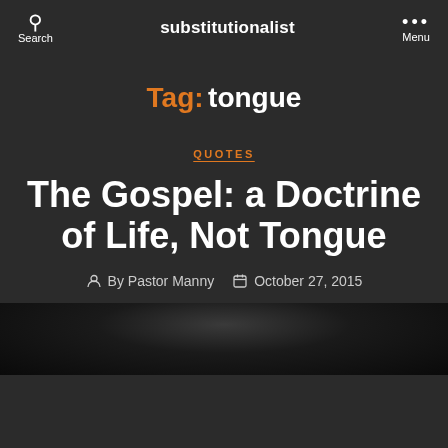Search  substitutionalist  Menu
Tag: tongue
QUOTES
The Gospel: a Doctrine of Life, Not Tongue
By Pastor Manny  October 27, 2015
[Figure (photo): Dark grayscale photo at the bottom of the page, partially visible]